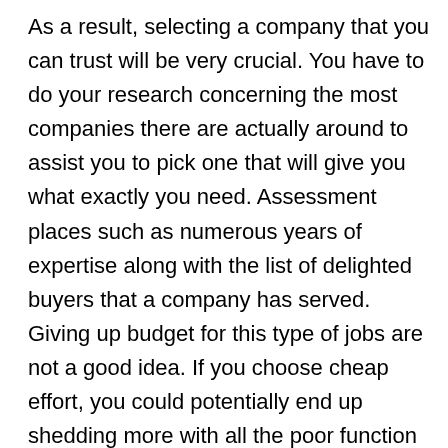As a result, selecting a company that you can trust will be very crucial. You have to do your research concerning the most companies there are actually around to assist you to pick one that will give you what exactly you need. Assessment places such as numerous years of expertise along with the list of delighted buyers that a company has served. Giving up budget for this type of jobs are not a good idea. If you choose cheap effort, you could potentially end up shedding more with all the poor function that may end result and the time of the task could even get prolonged.